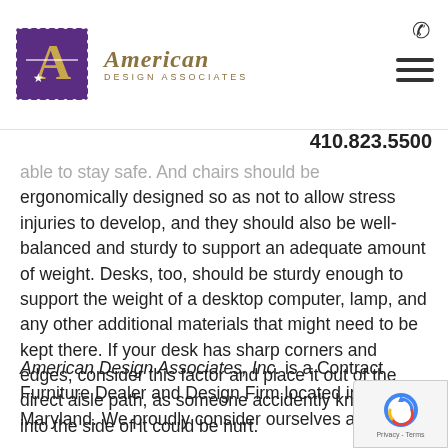American Design Associates
able to stay safe. And chairs should be ergonomically designed so as not to allow stress injuries to develop, and they should also be well-balanced and sturdy to support an adequate amount of weight. Desks, too, should be sturdy enough to support the weight of a desktop computer, lamp, and any other additional materials that might need to be kept there. If your desk has sharp corners and edges, consider this factor and place it out of the direct aisle path, as someone accidently knocking into the side of it could be hurt.
American Design Associates, Inc. is a Contract Furniture Dealer and Design Firm located in Towson Maryland. We proudly consider ourselves a “Dream Team” comprised of experienced project managers, interior designers, service technicians and an